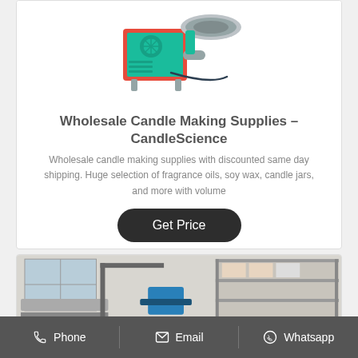[Figure (photo): Industrial oil press / candle making machine in teal/green and red color on white background]
Wholesale Candle Making Supplies – CandleScience
Wholesale candle making supplies with discounted same day shipping. Huge selection of fragrance oils, soy wax, candle jars, and more with volume
Get Price
[Figure (photo): Factory interior showing industrial machinery and shelving units in a warehouse setting]
Phone   Email   Whatsapp